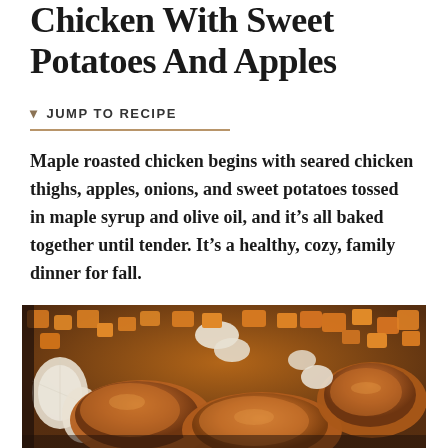Chicken With Sweet Potatoes And Apples
JUMP TO RECIPE
Maple roasted chicken begins with seared chicken thighs, apples, onions, and sweet potatoes tossed in maple syrup and olive oil, and it’s all baked together until tender. It’s a healthy, cozy, family dinner for fall.
[Figure (photo): Overhead close-up of a cast iron skillet filled with roasted chicken thighs, chunked sweet potatoes, white onion wedges, and apple pieces, all golden-brown and glistening.]